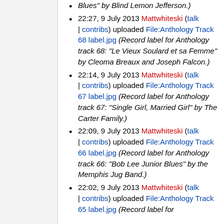Blues" by Blind Lemon Jefferson.)
22:27, 9 July 2013 Mattwhiteski (talk | contribs) uploaded File:Anthology Track 68 label.jpg (Record label for Anthology track 68: "Le Vieux Soulard et sa Femme" by Cleoma Breaux and Joseph Falcon.)
22:14, 9 July 2013 Mattwhiteski (talk | contribs) uploaded File:Anthology Track 67 label.jpg (Record label for Anthology track 67: "Single Girl, Married Girl" by The Carter Family.)
22:09, 9 July 2013 Mattwhiteski (talk | contribs) uploaded File:Anthology Track 66 label.jpg (Record label for Anthology track 66: "Bob Lee Junior Blues" by the Memphis Jug Band.)
22:02, 9 July 2013 Mattwhiteski (talk | contribs) uploaded File:Anthology Track 65 label.jpg (Record label for